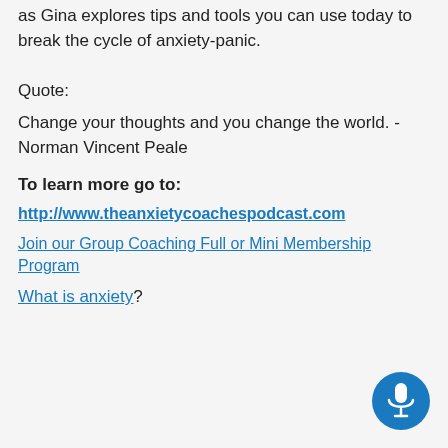as Gina explores tips and tools you can use today to break the cycle of anxiety-panic.
Quote:
Change your thoughts and you change the world. -Norman Vincent Peale
To learn more go to:
http://www.theanxietycoachespodcast.com
Join our Group Coaching Full or Mini Membership Program
What is anxiety?
[Figure (illustration): Blue circular button with a microphone icon]